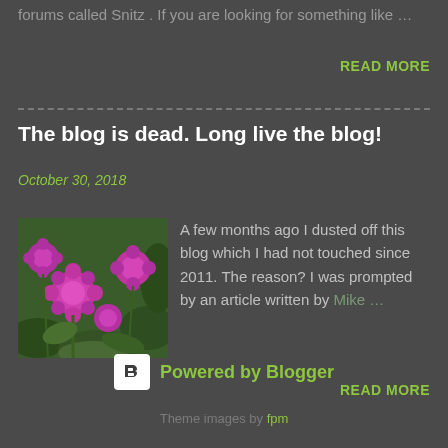forums called Snitz . If you are looking for something like …
READ MORE
The blog is dead. Long live the blog!
October 30, 2018
[Figure (photo): Photo of purple/pink round flowers (globe amaranth) with green foliage]
A few months ago I dusted off this blog which I had not touched since 2011. The reason? I was prompted by an article written by Mike …
READ MORE
Powered by Blogger
Theme images by fpm